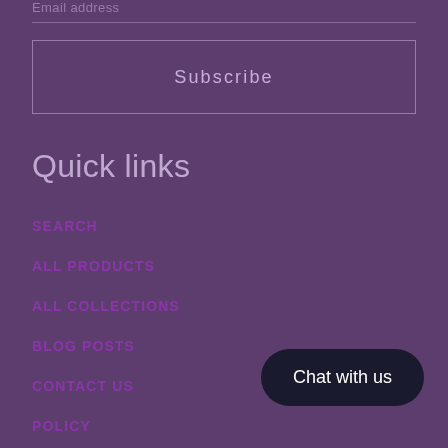Email address
Subscribe
Quick links
SEARCH
ALL PRODUCTS
ALL COLLECTIONS
BLOG POSTS
CONTACT US
POLICY
Chat with us